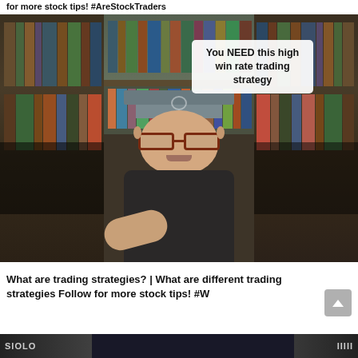for more stock tips! #AreStockTraders
[Figure (screenshot): Screenshot of a social media video thumbnail showing a man wearing a baseball cap and red-framed glasses, seated in front of a bookshelf. A white text overlay reads: 'You NEED this high win rate trading strategy']
What are trading strategies? | What are different trading strategies Follow for more stock tips! #W
[Figure (screenshot): Bottom strip of a social media feed showing partial thumbnails of additional video content]